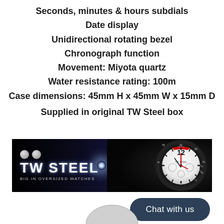Seconds, minutes & hours subdials
Date display
Unidirectional rotating bezel
Chronograph function
Movement: Miyota quartz
Water resistance rating: 100m
Case dimensions: 45mm H x 45mm W x 15mm D
Supplied in original TW Steel box
[Figure (logo): TW Steel branded banner with logo, silver dots, glowing light effect, and watch face on dark background. Text: TW STEEL, BIG IN OVERSIZED WATCHES]
Chat with us